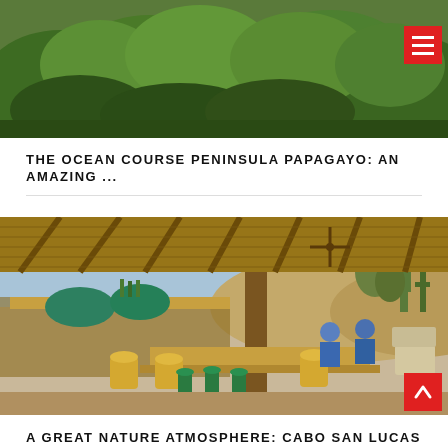[Figure (photo): Aerial or hillside view of lush green vegetation / golf course landscape]
THE OCEAN COURSE PENINSULA PAPAGAYO: AN AMAZING ...
[Figure (photo): Outdoor bar/restaurant area with thatched roof, barrel stools, green metal stools, wooden tables, desert landscape in background, two people seated]
A GREAT NATURE ATMOSPHERE: CABO SAN LUCAS